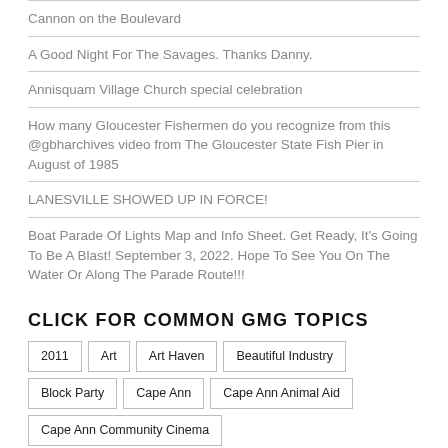Cannon on the Boulevard
A Good Night For The Savages. Thanks Danny.
Annisquam Village Church special celebration
How many Gloucester Fishermen do you recognize from this @gbharchives video from The Gloucester State Fish Pier in August of 1985
LANESVILLE SHOWED UP IN FORCE!
Boat Parade Of Lights Map and Info Sheet. Get Ready, It's Going To Be A Blast! September 3, 2022. Hope To See You On The Water Or Along The Parade Route!!!
CLICK FOR COMMON GMG TOPICS
2011
Art
Art Haven
Beautiful Industry
Block Party
Cape Ann
Cape Ann Animal Aid
Cape Ann Community Cinema